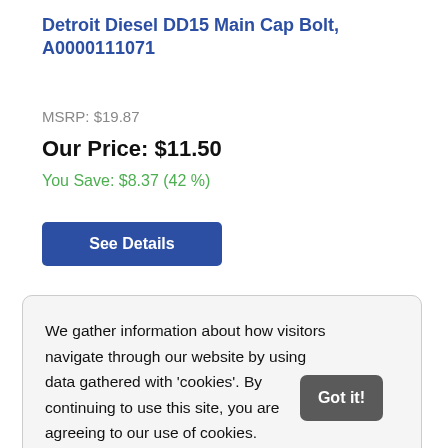Detroit Diesel DD15 Main Cap Bolt, A0000111071
MSRP: $19.87
Our Price: $11.50
You Save: $8.37 (42 %)
See Details
[Figure (photo): Product image area showing a bolt and money in the background]
We gather information about how visitors navigate through our website by using data gathered with 'cookies'. By continuing to use this site, you are agreeing to our use of cookies.
Learn more